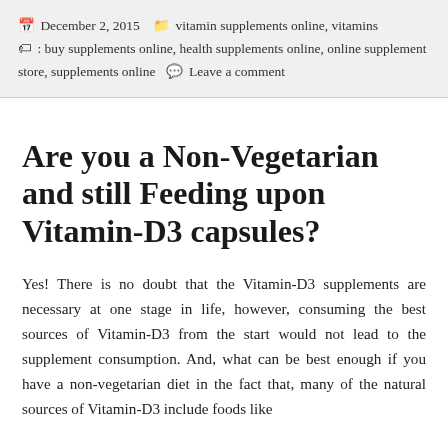December 2, 2015   vitamin supplements online, vitamins   : buy supplements online, health supplements online, online supplement store, supplements online   Leave a comment
Are you a Non-Vegetarian and still Feeding upon Vitamin-D3 capsules?
Yes! There is no doubt that the Vitamin-D3 supplements are necessary at one stage in life, however, consuming the best sources of Vitamin-D3 from the start would not lead to the supplement consumption. And, what can be best enough if you have a non-vegetarian diet in the fact that, many of the natural sources of Vitamin-D3 include foods like